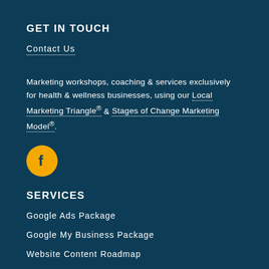GET IN TOUCH
Contact Us
Marketing workshops, coaching & services exclusively for health & wellness businesses, using our Local Marketing Triangle® & Stages of Change Marketing Model®.
[Figure (logo): Yellow circle Facebook icon]
SERVICES
Google Ads Package
Google My Business Package
Website Content Roadmap
Copilot Coaching Pass